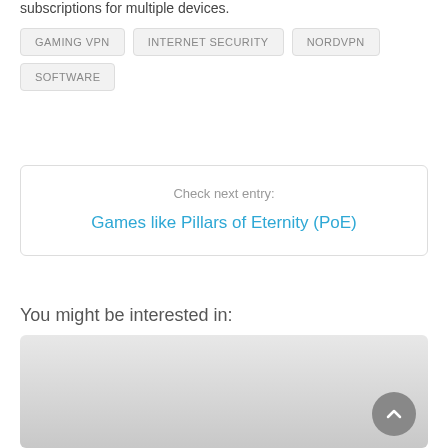subscriptions for multiple devices.
GAMING VPN
INTERNET SECURITY
NORDVPN
SOFTWARE
Check next entry:
Games like Pillars of Eternity (PoE)
You might be interested in:
[Figure (photo): Card image area with gradient background and scroll-to-top button]